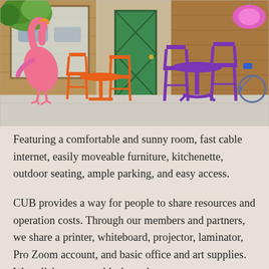[Figure (photo): Outdoor seating area in front of a shop with bright green door. Orange table and chairs on left, purple table and chairs on right. Pink flamingo sculpture on far left. Hanging flower baskets and bicycle on right. Wooden storefront facade.]
Featuring a comfortable and sunny room, fast cable internet, easily moveable furniture, kitchenette, outdoor seating, ample parking, and easy access.
CUB provides a way for people to share resources and operation costs. Through our members and partners, we share a printer, whiteboard, projector, laminator, Pro Zoom account, and basic office and art supplies. We collaborate, troubleshoot, learn